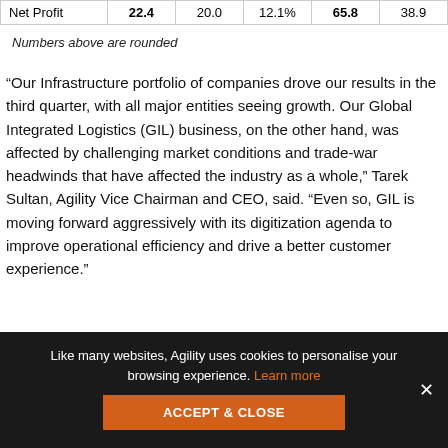| Net Profit | 22.4 | 20.0 | 12.1% | 65.8 | 38.9 |
Numbers above are rounded
“Our Infrastructure portfolio of companies drove our results in the third quarter, with all major entities seeing growth. Our Global Integrated Logistics (GIL) business, on the other hand, was affected by challenging market conditions and trade-war headwinds that have affected the industry as a whole,” Tarek Sultan, Agility Vice Chairman and CEO, said. “Even so, GIL is moving forward aggressively with its digitization agenda to improve operational efficiency and drive a better customer experience.”
Like many websites, Agility uses cookies to personalise your browsing experience. Learn more